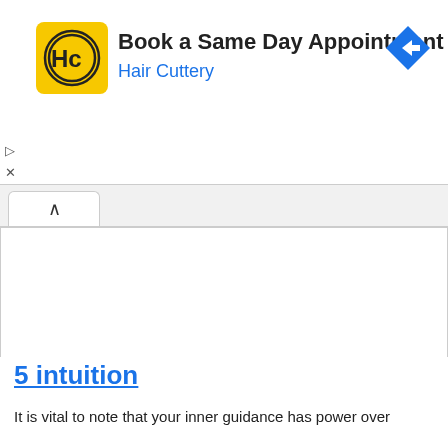[Figure (screenshot): Hair Cuttery advertisement banner. Yellow square logo with HC initials inside a circle on the left. Text reads 'Book a Same Day Appointment' in bold black and 'Hair Cuttery' in blue. Blue diamond navigation arrow icon on the right. Small play and close (X) controls on the far left.]
[Figure (screenshot): Browser tab bar showing a collapse/up-arrow tab button on a light grey tab strip background.]
5 intuition
It is vital to note that your inner guidance has power over